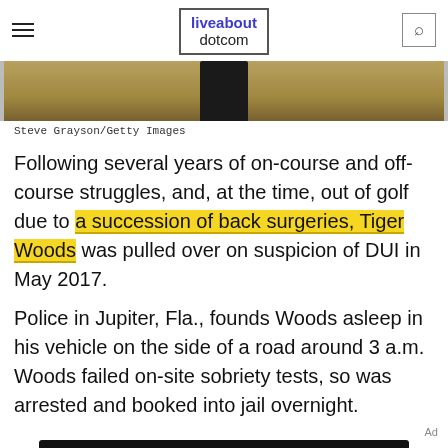liveabout dotcom
[Figure (photo): Cropped photo of a person (likely Tiger Woods) from the waist down, standing on a golf course with dry grass in the background. Left and right borders visible.]
Steve Grayson/Getty Images
Following several years of on-course and off-course struggles, and, at the time, out of golf due to a succession of back surgeries, Tiger Woods was pulled over on suspicion of DUI in May 2017.
Police in Jupiter, Fla., founds Woods asleep in his vehicle on the side of a road around 3 a.m. Woods failed on-site sobriety tests, so was arrested and booked into jail overnight.
[Figure (infographic): Dotdash Meredith advertisement banner: 'We help people find answers, solve problems and get inspired.' with Dotdash Meredith logo.]